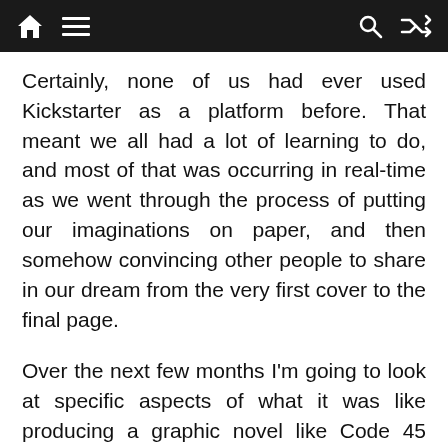[navigation bar with home, menu, search, shuffle icons]
Certainly, none of us had ever used Kickstarter as a platform before. That meant we all had a lot of learning to do, and most of that was occurring in real-time as we went through the process of putting our imaginations on paper, and then somehow convincing other people to share in our dream from the very first cover to the final page.
Over the next few months I'm going to look at specific aspects of what it was like producing a graphic novel like Code 45 during what was, and in many ways still is, one of the most difficult times in many of our lives. Some of the mistakes we made were clearly tied to dealing with the pandemic, but surprisingly there were components of our success—especially with Kickstarter—that were tied to it, too.